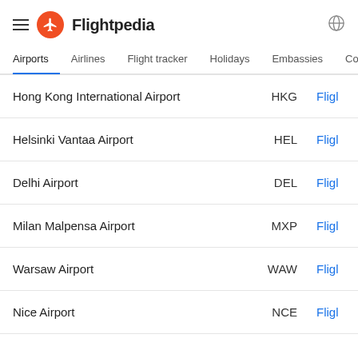Flightpedia
Airports | Airlines | Flight tracker | Holidays | Embassies | Converters
Hong Kong International Airport  HKG  Fligl
Helsinki Vantaa Airport  HEL  Fligl
Delhi Airport  DEL  Fligl
Milan Malpensa Airport  MXP  Fligl
Warsaw Airport  WAW  Fligl
Nice Airport  NCE  Fligl